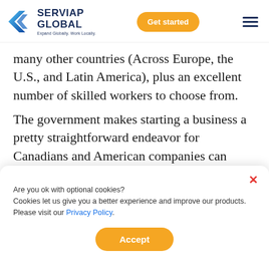SERVIAP GLOBAL — Expand Globally, Work Locally
many other countries (Across Europe, the U.S., and Latin America), plus an excellent number of skilled workers to choose from.
The government makes starting a business a pretty straightforward endeavor for Canadians and American companies can easily tap into the market by employing...
Are you ok with optional cookies? Cookies let us give you a better experience and improve our products. Please visit our Privacy Policy.